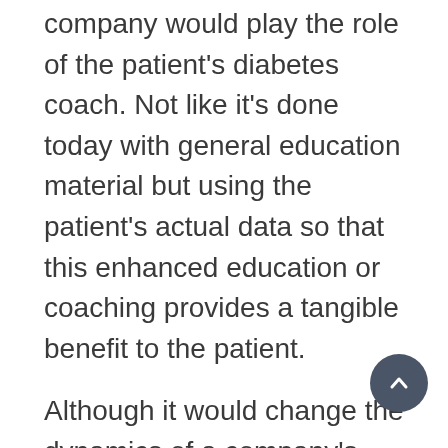company would play the role of the patient's diabetes coach. Not like it's done today with general education material but using the patient's actual data so that this enhanced education or coaching provides a tangible benefit to the patient.
Although it would change the dynamics of a company's revenue stream another option would be to shift from a buy to lease model. Rather than charge the patient and by default the insurer one price for the...